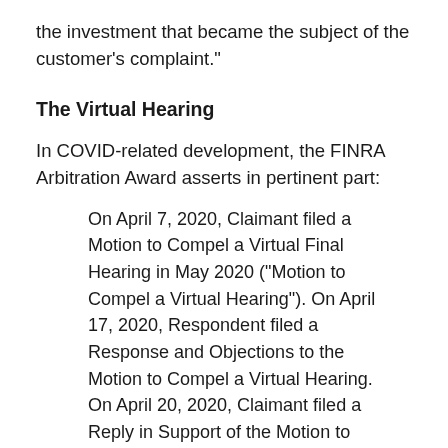the investment that became the subject of the customer's complaint."
The Virtual Hearing
In COVID-related development, the FINRA Arbitration Award asserts in pertinent part:
On April 7, 2020, Claimant filed a Motion to Compel a Virtual Final Hearing in May 2020 ("Motion to Compel a Virtual Hearing"). On April 17, 2020, Respondent filed a Response and Objections to the Motion to Compel a Virtual Hearing. On April 20, 2020, Claimant filed a Reply in Support of the Motion to Compel a Virtual Hearing. The Panel heard oral arguments on the Motion to Compel a Virtual Hearing on April 22, 2020 and the parties and Panel agreed to hearing